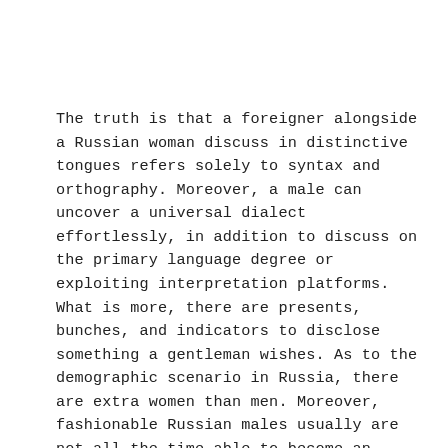The truth is that a foreigner alongside a Russian woman discuss in distinctive tongues refers solely to syntax and orthography. Moreover, a male can uncover a universal dialect effortlessly, in addition to discuss on the primary language degree or exploiting interpretation platforms. What is more, there are presents, bunches, and indicators to disclose something a gentleman wishes. As to the demographic scenario in Russia, there are extra women than men. Moreover, fashionable Russian males usually are not all the time able to become an excellent husband or father. There is an awful downside with alcohol and unemployment. All these reasons